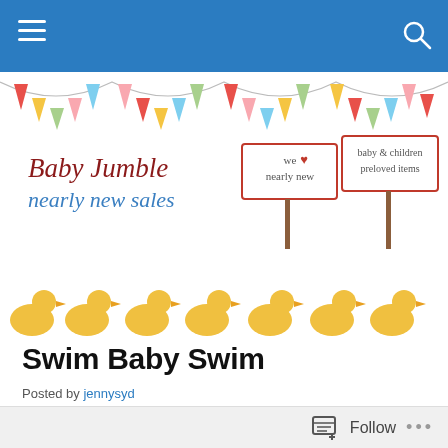Baby Jumble nearly new sales — navigation bar
[Figure (illustration): Baby Jumble nearly new sales banner with colourful bunting flags, logo text reading 'Baby Jumble nearly new sales', signs reading 'we love nearly new' and 'baby & children preloved items', and a row of yellow ducks along the bottom]
Swim Baby Swim
Posted by jennysyd
Being a pretty useless swimmer myself, I was keen to get Fred into the pool as soon as possible to ensure that he is confident and capable in water. I also thought that after
Follow •••